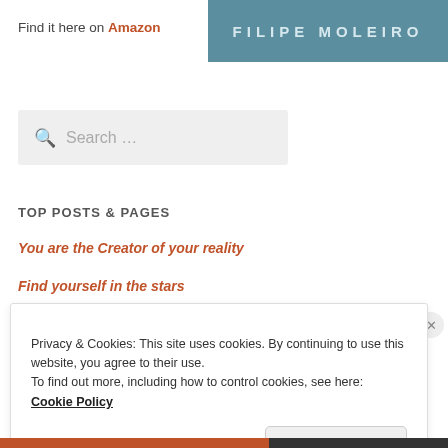[Figure (logo): Teal/blue-grey header banner with text FILIPE MOLEIRO in spaced uppercase letters]
Find it here on Amazon
[Figure (other): Search box with magnifying glass icon and placeholder text 'Search ...']
TOP POSTS & PAGES
You are the Creator of your reality
Find yourself in the stars
Privacy & Cookies: This site uses cookies. By continuing to use this website, you agree to their use. To find out more, including how to control cookies, see here: Cookie Policy